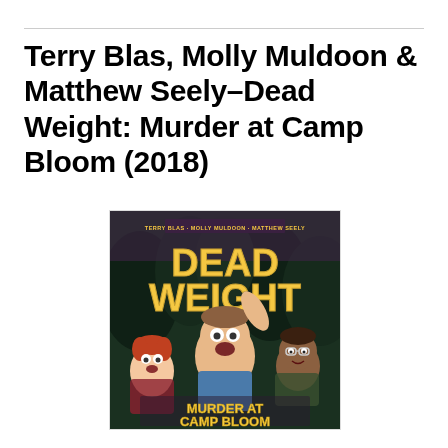Terry Blas, Molly Muldoon & Matthew Seely–Dead Weight: Murder at Camp Bloom (2018)
[Figure (illustration): Book cover of 'Dead Weight: Murder at Camp Bloom' (2018) by Terry Blas, Molly Muldoon, and Matthew Seely. The cover shows a dark forest background with three cartoon characters looking frightened. 'DEAD WEIGHT' is written in large yellow letters at the top, and 'MURDER AT CAMP BLOOM' is written in yellow letters at the bottom.]